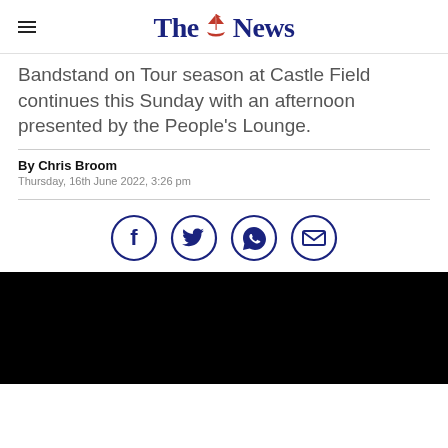The News
Bandstand on Tour season at Castle Field continues this Sunday with an afternoon presented by the People's Lounge.
By Chris Broom
Thursday, 16th June 2022, 3:26 pm
[Figure (infographic): Social sharing icons: Facebook, Twitter, WhatsApp, Email — each in a dark navy circle outline]
[Figure (photo): Black image block at bottom of page]